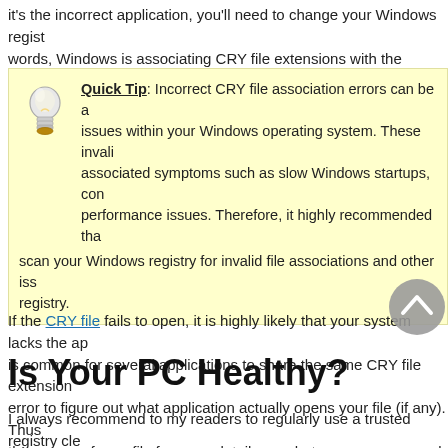it's the incorrect application, you'll need to change your Windows registry. In other words, Windows is associating CRY file extensions with the wrong software.
Quick Tip: Incorrect CRY file association errors can be associated with issues within your Windows operating system. These invalid entries can associated symptoms such as slow Windows startups, computer errors, and performance issues. Therefore, it highly recommended that you scan your Windows registry for invalid file associations and other issues within the registry.
If the CRY file fails to open, it is highly likely that your system lacks the application. It is common for several applications to share the same CRY file extension. This can make it difficult to error to figure out what application actually opens your file (if any). Thus, it's best to check the source of your file for more details on what program you need to open the file. This will save a lot of time and headaches! Remember to always take caution when opening files from unknown sources or emails. I Hope You Liked This Article! If You Need Additional Help, Please Don't Hesitate To Contact Me On Facebook.
Is Your PC Healthy?
I always recommend to my readers to regularly use a trusted registry cleaner such as WinThruster (Download) or CCleaner. Many problems that you encounter